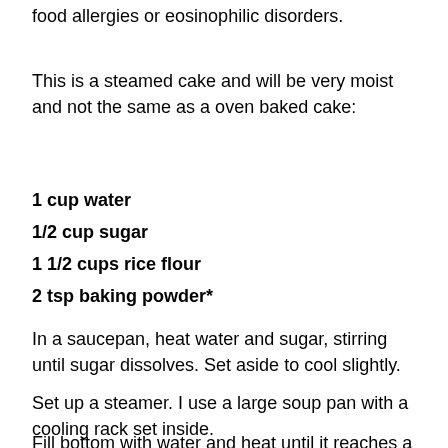food allergies or eosinophilic disorders.
This is a steamed cake and will be very moist and not the same as a oven baked cake:
1 cup water
1/2 cup sugar
1 1/2 cups rice flour
2 tsp baking powder*
In a saucepan, heat water and sugar, stirring until sugar dissolves. Set aside to cool slightly.
Set up a steamer. I use a large soup pan with a cooling rack set inside.
Fill bottom with water and heat until it reaches a low boil.